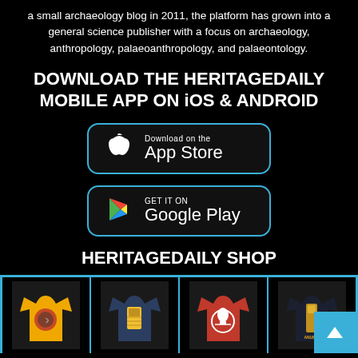a small archaeology blog in 2011, the platform has grown into a general science publisher with a focus on archaeology, anthropology, palaeoanthropology, and palaeontology.
DOWNLOAD THE HERITAGEDAILY MOBILE APP ON iOS & ANDROID
[Figure (logo): App Store download badge with Apple logo icon and text 'Download on the App Store' on dark background with blue rounded border]
[Figure (logo): Google Play download badge with Google Play triangle logo and text 'GET IT ON Google Play' on dark background with blue rounded border]
HERITAGEDAILY SHOP
[Figure (illustration): Four t-shirts displayed in a row: yellow shirt with archaeology design, navy shirt with pharaoh mask, red shirt with Spartan helmet logo, dark navy shirt with Egyptian figure design. Bordered in light blue. A back-to-top button appears in bottom right corner.]